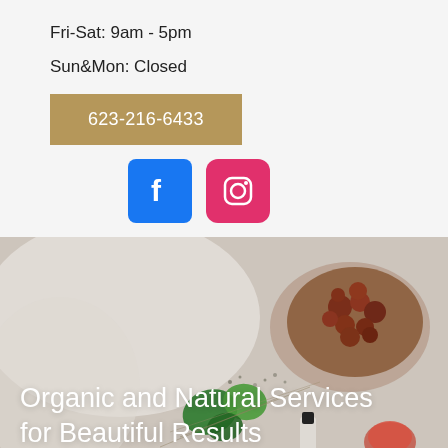Fri-Sat: 9am - 5pm
Sun&Mon: Closed
623-216-6433
[Figure (logo): Facebook and Instagram social media icons]
[Figure (photo): Flat lay of organic herbs, spices, botanicals and beauty products on white background]
Organic and Natural Services for Beautiful Results